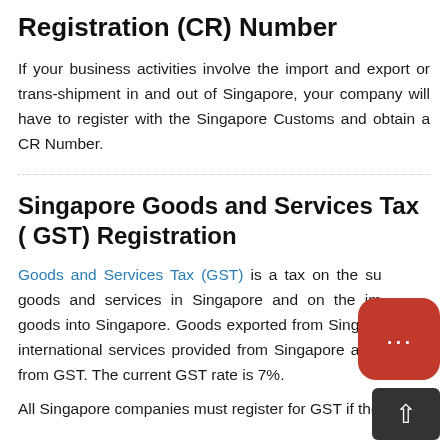Registration (CR) Number
If your business activities involve the import and export or trans-shipment in and out of Singapore, your company will have to register with the Singapore Customs and obtain a CR Number.
Singapore Goods and Services Tax ( GST) Registration
Goods and Services Tax (GST) is a tax on the supply of goods and services in Singapore and on the import of goods into Singapore. Goods exported from Singapore and international services provided from Singapore are exempt from GST. The current GST rate is 7%.
All Singapore companies must register for GST if the...